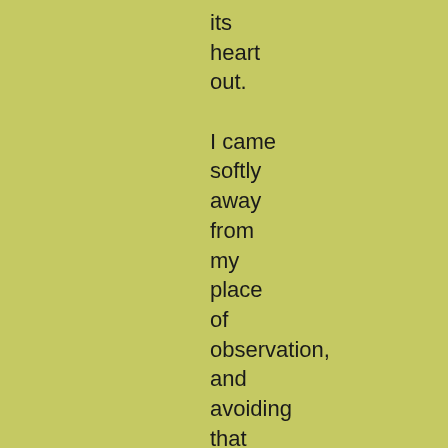its
heart
out.

I came
softly
away
from
my
place
of
observation,
and
avoiding
that
part of
the
neighbourhood,
and